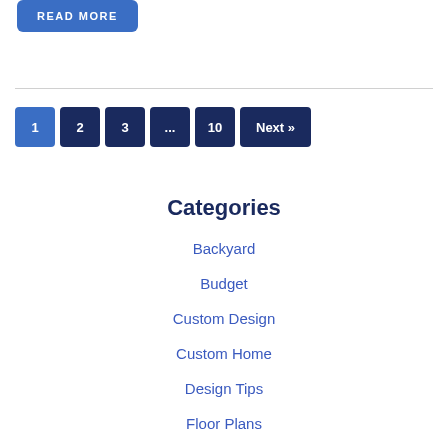READ MORE
1
2
3
...
10
Next »
Categories
Backyard
Budget
Custom Design
Custom Home
Design Tips
Floor Plans